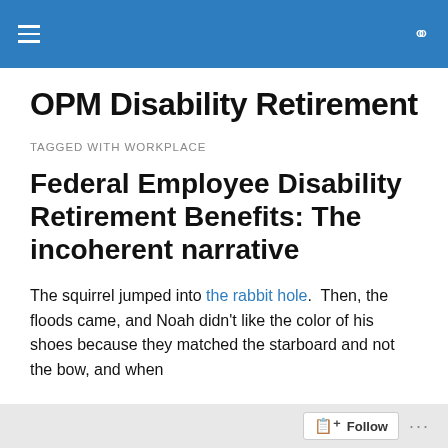OPM Disability Retirement
OPM Disability Retirement
TAGGED WITH WORKPLACE
Federal Employee Disability Retirement Benefits: The incoherent narrative
The squirrel jumped into the rabbit hole.  Then, the floods came, and Noah didn't like the color of his shoes because they matched the starboard and not the bow, and when
Follow ...